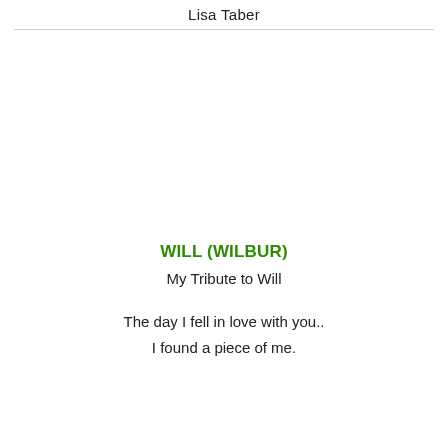Lisa Taber
WILL (WILBUR)
My Tribute to Will
The day I fell in love with you..
I found a piece of me.